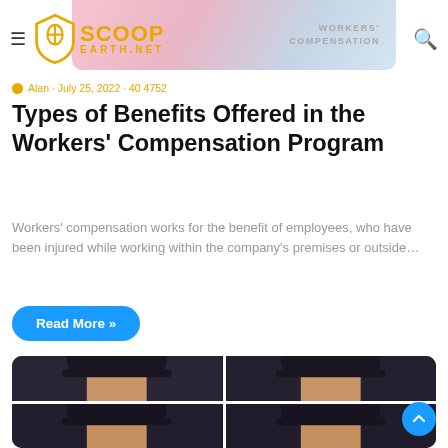ScoopEarth.net
Alan · July 25, 2022 · 40 4752
Types of Benefits Offered in the Workers' Compensation Program
Workers' compensation works for the benefit of employees, who have been injured while working within the company's premises or outside…
Read More »
[Figure (photo): Four-panel photo grid showing a woman with straight black hair with bangs, appearing to be a selfie or portrait photo repeated in four quadrants]